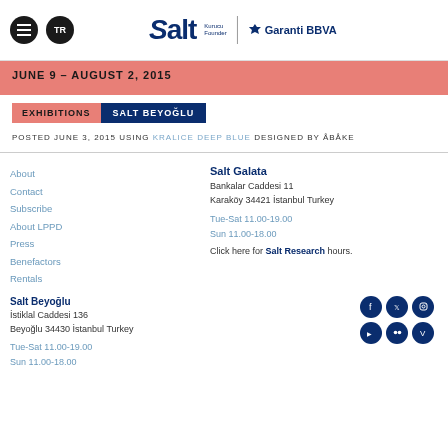Salt — Kurucu Founder | Garanti BBVA
JUNE 9 – AUGUST 2, 2015
EXHIBITIONS  SALT BEYOĞLU
POSTED JUNE 3, 2015 USING KRALICE DEEP BLUE DESIGNED BY ÅBÅKE
About
Contact
Subscribe
About LPPD
Press
Benefactors
Rentals
Salt Galata
Bankalar Caddesi 11
Karaköy 34421 İstanbul Turkey

Tue-Sat 11.00-19.00
Sun 11.00-18.00

Click here for Salt Research hours.
Salt Beyoğlu
İstiklal Caddesi 136
Beyoğlu 34430 İstanbul Turkey

Tue-Sat 11.00-19.00
Sun 11.00-18.00